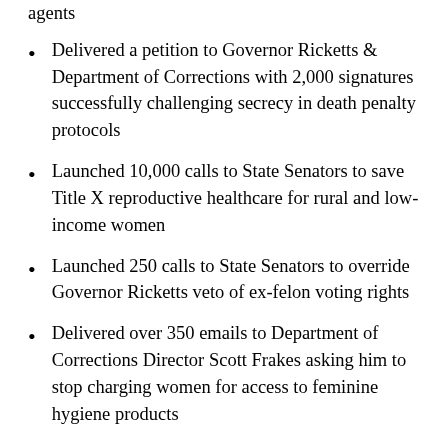agents
Delivered a petition to Governor Ricketts & Department of Corrections with 2,000 signatures successfully challenging secrecy in death penalty protocols
Launched 10,000 calls to State Senators to save Title X reproductive healthcare for rural and low-income women
Launched 250 calls to State Senators to override Governor Ricketts veto of ex-felon voting rights
Delivered over 350 emails to Department of Corrections Director Scott Frakes asking him to stop charging women for access to feminine hygiene products